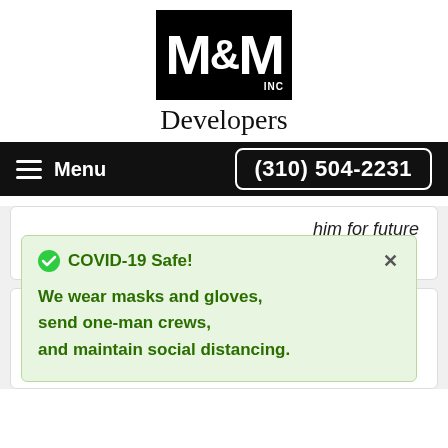[Figure (logo): M&M INC Developers logo — black rectangle with white M&M INC lettering, and 'Developers' text below in serif font]
Menu   (310) 504-2231
him for future
COVID-19 Safe!
We wear masks and gloves, send one-man crews, and maintain social distancing.
★★★★★ - "Very impressed with person that contacted me by phone. Joe was also very professional arriving on time, giving me an estimate